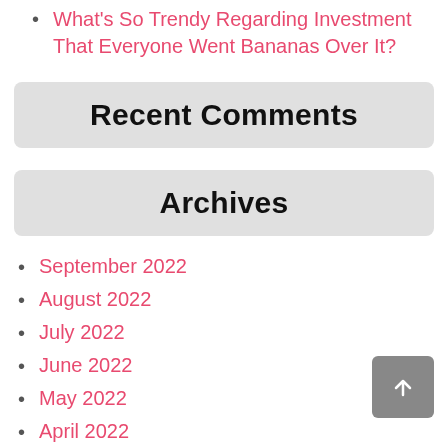What's So Trendy Regarding Investment That Everyone Went Bananas Over It?
Recent Comments
Archives
September 2022
August 2022
July 2022
June 2022
May 2022
April 2022
March 2022
February 2022